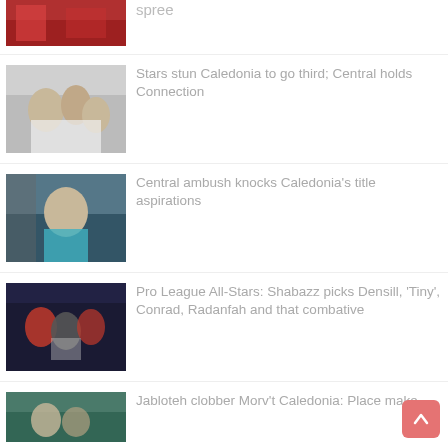[Figure (photo): Soccer players in red jerseys, partial view at top of page]
spree
[Figure (photo): Soccer players in white jerseys celebrating]
Stars stun Caledonia to go third; Central holds Connection
[Figure (photo): Goalkeeper in teal/cyan jersey pointing and shouting]
Central ambush knocks Caledonia's title aspirations
[Figure (photo): Soccer players in red and dark jerseys, action shot]
Pro League All-Stars: Shabazz picks Densill, 'Tiny', Conrad, Radanfah and that combative
[Figure (photo): Soccer players in action, partial view at bottom]
Jabloteh clobber Morv't Caledonia: Place make